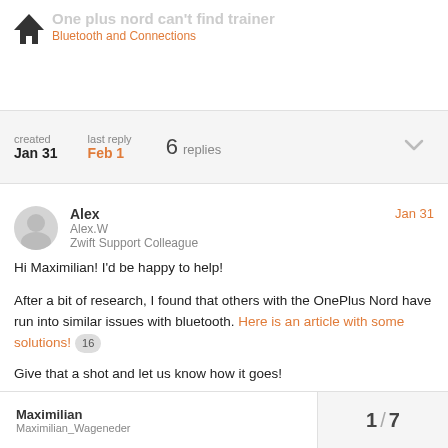One plus nord can't find trainer
Bluetooth and Connections
| created | last reply | replies |
| --- | --- | --- |
| Jan 31 | Feb 1 | 6 replies |
Alex
Alex.W
Zwift Support Colleague
Jan 31
Hi Maximilian! I'd be happy to help!

After a bit of research, I found that others with the OnePlus Nord have run into similar issues with bluetooth. Here is an article with some solutions! 16

Give that a shot and let us know how it goes!
Maximilian
Maximilian_Wageneder
1 / 7